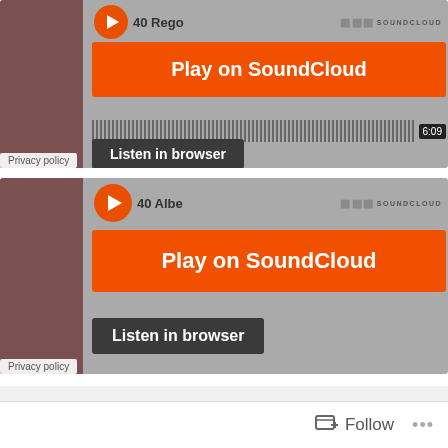[Figure (screenshot): SoundCloud embedded widget 1 showing '40 Rego' track with orange Play on SoundCloud button, waveform, 6:09 timestamp, and Listen in browser button. Privacy policy label at bottom left.]
[Figure (screenshot): SoundCloud embedded widget 2 showing '40 Albe' track with orange Play on SoundCloud button and Listen in browser button. Privacy policy label at bottom left.]
Posted in Lattice braced, Rosewood backs, Showcase of completed guitars, Spruce tops
Follow ...